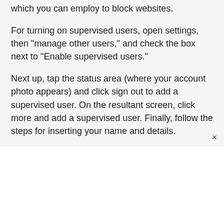which you can employ to block websites.
For turning on supervised users, open settings, then “manage other users,” and check the box next to “Enable supervised users.”
Next up, tap the status area (where your account photo appears) and click sign out to add a supervised user. On the resultant screen, click more and add a supervised user. Finally, follow the steps for inserting your name and details.